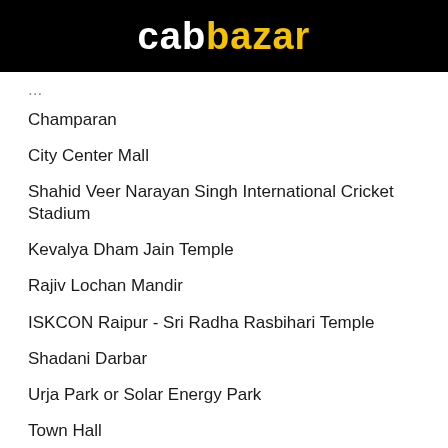[Figure (logo): CabBazar logo on black background — 'cab' in white bold text, 'bazar' in yellow bold text]
Champaran
City Center Mall
Shahid Veer Narayan Singh International Cricket Stadium
Kevalya Dham Jain Temple
Rajiv Lochan Mandir
ISKCON Raipur - Sri Radha Rasbihari Temple
Shadani Darbar
Urja Park or Solar Energy Park
Town Hall
Mahamaya Temple
Kankali Talab
Ghatarani Waterfalls
Jatmai temple